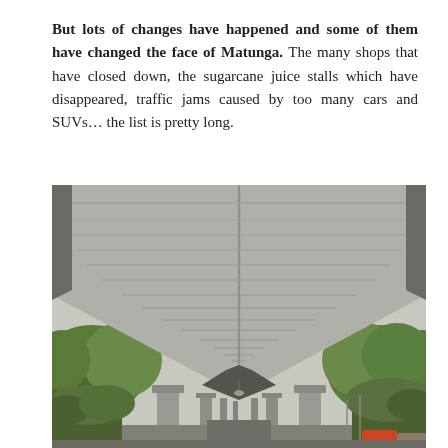But lots of changes have happened and some of them have changed the face of Matunga. The many shops that have closed down, the sugarcane juice stalls which have disappeared, traffic jams caused by too many cars and SUVs… the list is pretty long.
[Figure (photo): View from below a large concrete elevated flyover/overpass bridge in Matunga, looking along its underside perspective toward the distance. Concrete pillars support the structure. Trees are visible on both sides. Street and vehicles visible in the lower corners.]